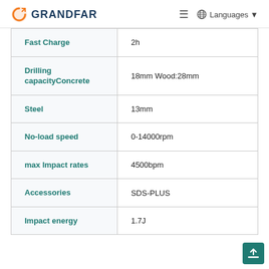GRANDFAR | Languages
| Property | Value |
| --- | --- |
| Fast Charge | 2h |
| Drilling capacityConcrete | 18mm Wood:28mm |
| Steel | 13mm |
| No-load speed | 0-14000rpm |
| max Impact rates | 4500bpm |
| Accessories | SDS-PLUS |
| Impact energy | 1.7J |